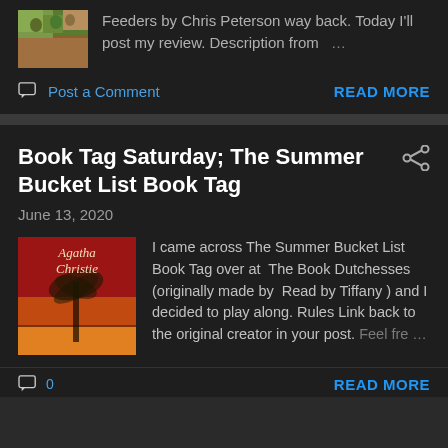[Figure (photo): Small thumbnail image of book cover with nature/outdoor scene]
Feeders by Chris Peterson way back. Today I'll post my review. Description from ...
Post a Comment
READ MORE
Book Tag Saturday; The Summer Bucket List Book Tag
June 13, 2020
[Figure (photo): Agatha Christie book cover - red with palm tree silhouette]
I came across The Summer Bucket List Book Tag over at  The Book Dutchesses (originally made by  Read by Tiffany ) and I decided to play along. Rules Link back to the original creator in your post. Feel fre ...
READ MORE